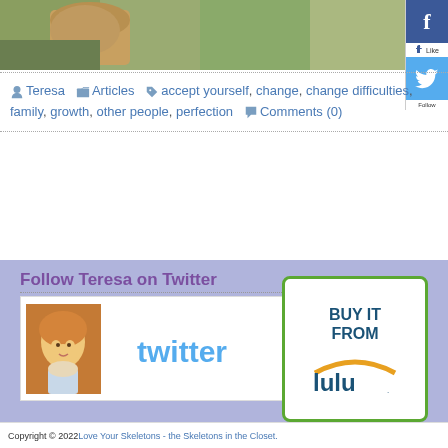[Figure (photo): Partial photo of a cat or animal with green/brown tones at the top of the page]
[Figure (logo): Facebook logo blue box with white 'f' on the right sidebar]
[Figure (logo): Twitter bird logo blue box on the right sidebar]
Teresa  Articles  accept yourself, change, change difficulties, family, growth, other people, perfection  Comments (0)
Follow Teresa on Twitter
[Figure (illustration): Twitter widget showing animated avatar of a blonde woman and the Twitter logo]
[Figure (logo): Buy It From Lulu green-bordered box with Lulu.com logo]
Copyright © 2022 Love Your Skeletons - the Skeletons in the Closet.